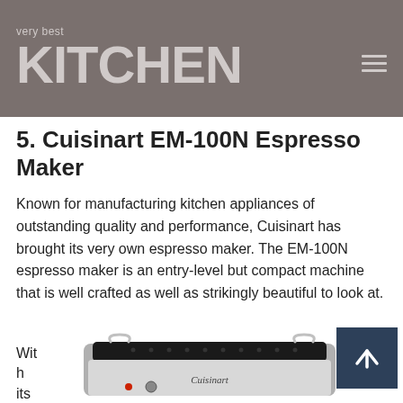very best KITCHEN
5. Cuisinart EM-100N Espresso Maker
Known for manufacturing kitchen appliances of outstanding quality and performance, Cuisinart has brought its very own espresso maker. The EM-100N espresso maker is an entry-level but compact machine that is well crafted as well as strikingly beautiful to look at.
With its
[Figure (photo): Cuisinart EM-100N espresso maker machine, stainless steel with black top, seen from above at an angle]
[Figure (other): Back to top button with upward arrow]